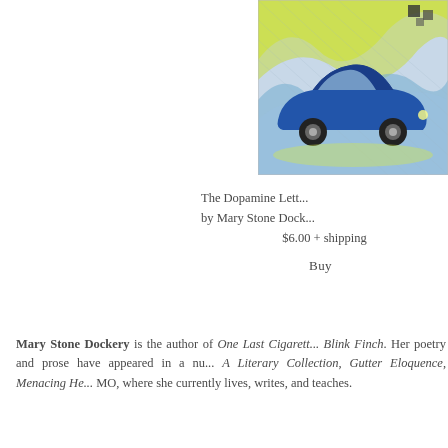[Figure (illustration): Book cover illustration showing a blue vintage car on a colorful abstract background with yellow and blue swirling patterns]
The Dopamine Lett...
by Mary Stone Dock...
$6.00 + shipping

Buy
Mary Stone Dockery is the author of One Last Cigarett... Blink Finch. Her poetry and prose have appeared in a nu... A Literary Collection, Gutter Eloquence, Menacing He... MO, where she currently lives, writes, and teaches.